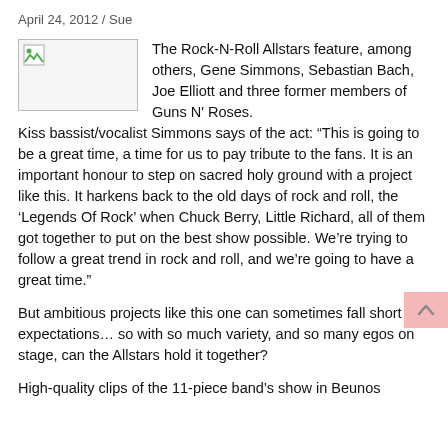April 24, 2012 / Sue
[Figure (photo): Broken image placeholder thumbnail]
The Rock-N-Roll Allstars feature, among others, Gene Simmons, Sebastian Bach, Joe Elliott and three former members of Guns N' Roses.
Kiss bassist/vocalist Simmons says of the act: “This is going to be a great time, a time for us to pay tribute to the fans. It is an important honour to step on sacred holy ground with a project like this. It harkens back to the old days of rock and roll, the ‘Legends Of Rock’ when Chuck Berry, Little Richard, all of them got together to put on the best show possible. We’re trying to follow a great trend in rock and roll, and we’re going to have a great time.”
But ambitious projects like this one can sometimes fall short of expectations… so with so much variety, and so many egos on stage, can the Allstars hold it together?
High-quality clips of the 11-piece band’s show in Beunos